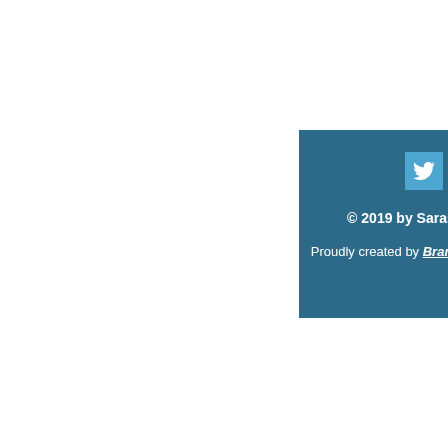[Figure (logo): Social media icons: Twitter bird icon in a light blue square, and a Facebook 'f' icon in dark blue/teal area]
© 2019 by Sarasota Butterflies
Proudly created by Brand Standard Marketing